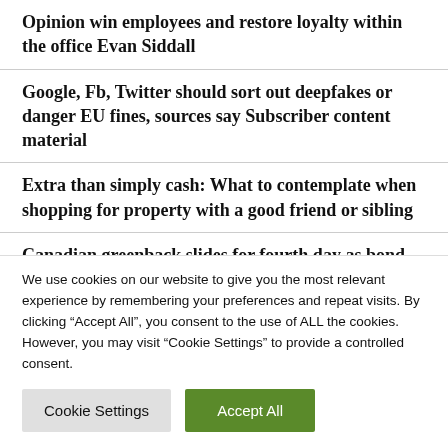Opinion win employees and restore loyalty within the office Evan Siddall
Google, Fb, Twitter should sort out deepfakes or danger EU fines, sources say Subscriber content material
Extra than simply cash: What to contemplate when shopping for property with a good friend or sibling
Canadian greenback slides for fourth day as bond yields...
We use cookies on our website to give you the most relevant experience by remembering your preferences and repeat visits. By clicking “Accept All”, you consent to the use of ALL the cookies. However, you may visit “Cookie Settings” to provide a controlled consent.